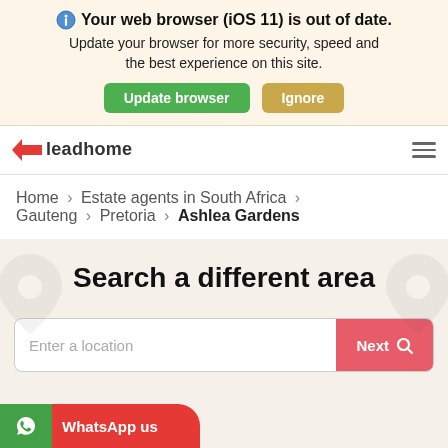🌐 Your web browser (iOS 11) is out of date. Update your browser for more security, speed and the best experience on this site. Update browser | Ignore
[Figure (logo): Leadhome logo with red arrow and text 'leadhome', plus hamburger menu icon]
Home > Estate agents in South Africa > Gauteng > Pretoria > Ashlea Gardens
Search a different area
Enter a location
Next 🔍
WhatsApp us